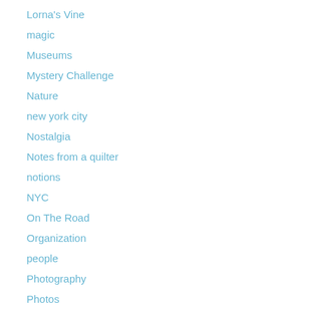Lorna's Vine
magic
Museums
Mystery Challenge
Nature
new york city
Nostalgia
Notes from a quilter
notions
NYC
On The Road
Organization
people
Photography
Photos
pie
Plate Mosaic
plumbing
posture
quilt